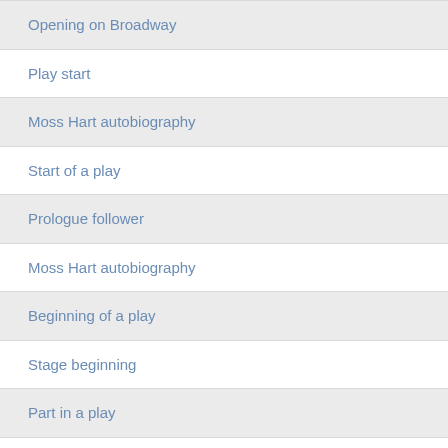Opening on Broadway
Play start
Moss Hart autobiography
Start of a play
Prologue follower
Moss Hart autobiography
Beginning of a play
Stage beginning
Part in a play
Overture follower